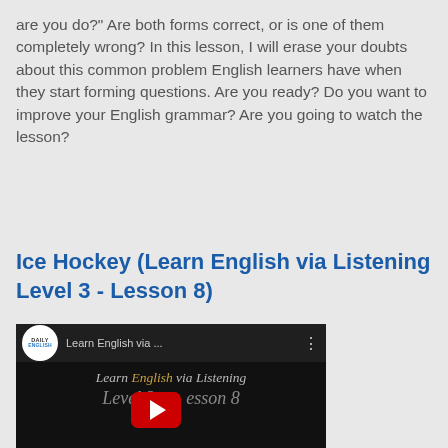are you do?" Are both forms correct, or is one of them completely wrong? In this lesson, I will erase your doubts about this common problem English learners have when they start forming questions. Are you ready? Do you want to improve your English grammar? Are you going to watch the lesson?
[Figure (screenshot): A blue Share button]
Ice Hockey (Learn English via Listening Level 3 - Lesson 8)
[Figure (screenshot): YouTube video thumbnail for 'Learn English via Listening Level 3 - Lesson 8' with Daily English logo, video title text, and red play button on dark background]